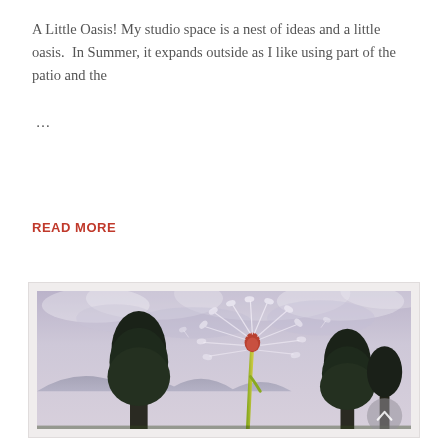A Little Oasis! My studio space is a nest of ideas and a little oasis.  In Summer, it expands outside as I like using part of the patio and the …
READ MORE
[Figure (photo): Photograph of a dandelion seedhead in the foreground against a cloudy sky, with pine trees and mountains visible in the background. A semi-transparent navigation circle with an upward arrow appears in the lower right corner of the image.]